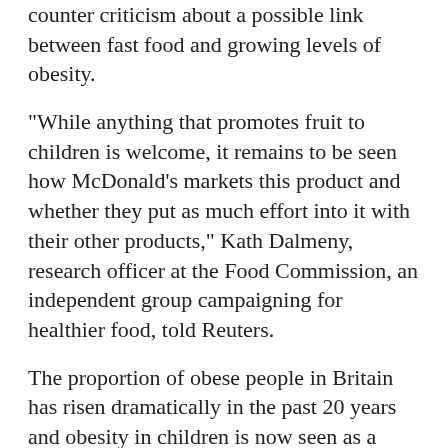counter criticism about a possible link between fast food and growing levels of obesity.
"While anything that promotes fruit to children is welcome, it remains to be seen how McDonald's markets this product and whether they put as much effort into it with their other products," Kath Dalmeny, research officer at the Food Commission, an independent group campaigning for healthier food, told Reuters.
The proportion of obese people in Britain has risen dramatically in the past 20 years and obesity in children is now seen as a health crisis.
related links
- McDonald's Postpones Move to Healthier Oil
- McDonald's obesity suit may be